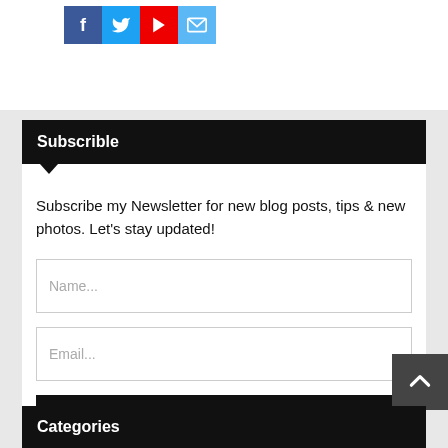[Figure (other): Social media icon buttons: Facebook (blue, letter f), Twitter (light blue, bird), YouTube (red, play button), Email (blue, envelope)]
Subscrible
Subscribe my Newsletter for new blog posts, tips & new photos. Let's stay updated!
Name...
Email...
SUBSCRIBE
Categories